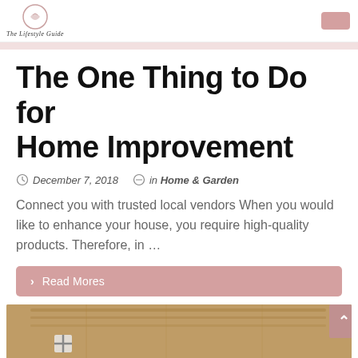The Lifestyle Guide
The One Thing to Do for Home Improvement
December 7, 2018   in Home & Garden
Connect you with trusted local vendors When you would like to enhance your house, you require high-quality products. Therefore, in …
> Read Mores
[Figure (photo): Interior room photo showing ceiling with lighting fixtures and a cross/plus sign on the wall, warm orange/brown tones]